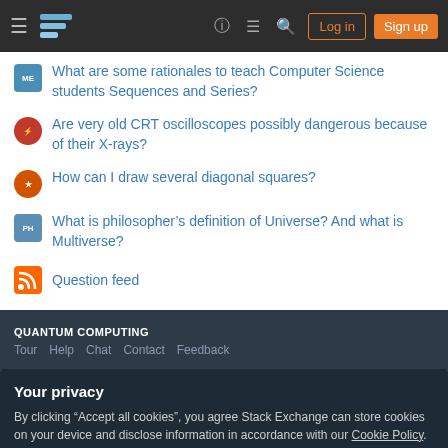Stack Exchange navigation bar with Log in and Sign up buttons
What are some rationales to teach Computer Science students Sequences and Series?
Are very old CRT oscilloscopes possibly dangerous because of their X-rays?
How can I draw several diagonal squares?
What is philosopher's definition of Universe? And what is Multiverse?
Question feed
QUANTUM COMPUTING
Tour  Help  Chat  Contact  Feedback
Your privacy
By clicking "Accept all cookies", you agree Stack Exchange can store cookies on your device and disclose information in accordance with our Cookie Policy.
Accept all cookies    Customize settings
Technology  Culture & recreation  Life & arts  Science  Professional